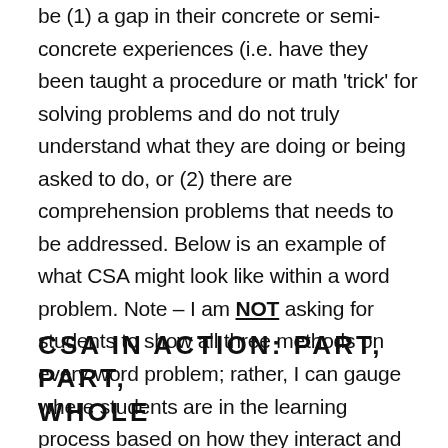be (1) a gap in their concrete or semi-concrete experiences (i.e. have they been taught a procedure or math 'trick' for solving problems and do not truly understand what they are doing or being asked to do, or (2) there are comprehension problems that needs to be addressed. Below is an example of what CSA might look like within a word problem. Note – I am NOT asking for students to show all three methods on every word problem; rather, I can gauge where students are in the learning process based on how they interact and engage with the problem.
CSA IN ACTION: PART, PART, WHOLE